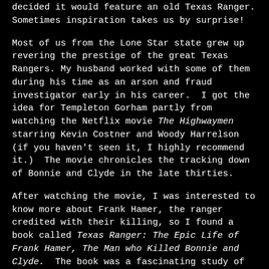decided it would feature an old Texas Ranger. Sometimes inspiration takes us by surprise!
Most of us from the Lone Star state grew up revering the prestige of the great Texas Rangers. My husband worked with some of them during his time as an arson and fraud investigator early in his career. I got the idea for Templeton Gorham partly from watching the Netflix movie The Highwaymen starring Kevin Costner and Woody Harrelson (if you haven't seen it, I highly recommend it.) The movie chronicles the tracking down of Bonnie and Clyde in the late thirties.
After watching the movie, I was interested to know more about Frank Hamer, the ranger credited with their killing, so I found a book called Texas Ranger: The Epic Life of Frank Hamer, The Man who Killed Bonnie and Clyde. The book was a fascinating study of the man from his youth to his death. What was most interesting to me was the fact that Hamer was known for his protection of blacks against lynching. The book is full of tales of his efforts to stand between violent mobs and prisoners in his custody. Later, he also fought continuously against the KKK and their rackets to control cities and